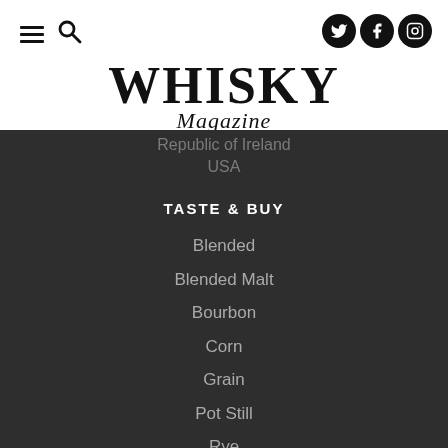[Figure (logo): Whisky Magazine logo with hamburger menu, search icon, and social media icons (Twitter, Facebook, Instagram)]
Republic of Ireland
USA
TASTE & BUY
Blended
Blended Malt
Bourbon
Corn
Grain
Pot Still
Rye
Single Malt
Wheat